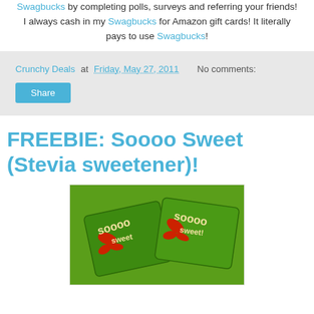Swagbucks by completing polls, surveys and referring your friends! I always cash in my Swagbucks for Amazon gift cards! It literally pays to use Swagbucks!
Crunchy Deals at Friday, May 27, 2011   No comments:
Share
FREEBIE: Soooo Sweet (Stevia sweetener)!
[Figure (photo): Two green packets of Soooo Sweet stevia sweetener on a green background]